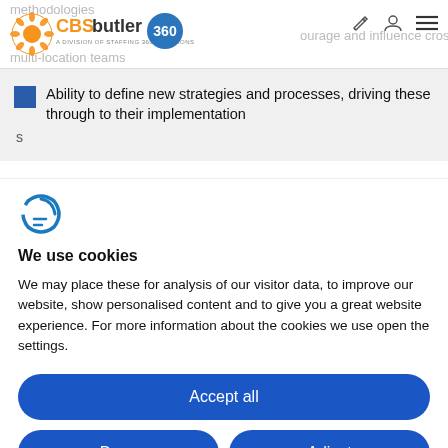CBSbutler 360 — navigation header with logo, edit icon, user icon, menu icon
Ability to define new strategies and processes, driving these through to their implementation
[Figure (logo): Cookiebot / GDPR cookie consent icon — stylized C with a leaf]
We use cookies
We may place these for analysis of our visitor data, to improve our website, show personalised content and to give you a great website experience. For more information about the cookies we use open the settings.
Accept all
Deny
Adjust